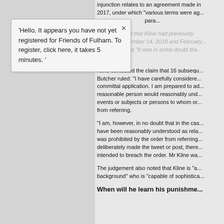injunction relates to an agreement made in 2017, under which "various terms were ag... and non-...para... The court ruled that Kline had previously between December 14, 2018 and February... suggestion that "it was in some doubt that posts".
'Hello, It appears you have not yet registered for Friends of Fulham. To register, click here, it takes 5 minutes.'
Kline contested the claim that 16 subsequent... Butcher ruled: "I have carefully considered... committal application. I am prepared to ac... reasonable person would reasonably und... events or subjects or persons to whom or... from referring.
"I am, however, in no doubt that in the cas... have been reasonably understood as rela... was prohibited by the order from referring... deliberately made the tweet or post, there... intended to breach the order. Mr Kline wa...
The judgement also noted that Kline is "a... background" who is "capable of sophistica...
When will he learn his punishme...